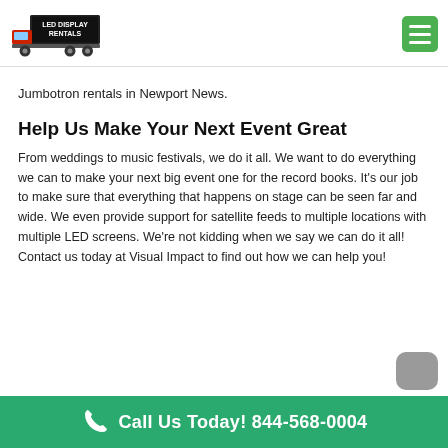LED Display Rentals
Jumbotron rentals in Newport News.
Help Us Make Your Next Event Great
From weddings to music festivals, we do it all. We want to do everything we can to make your next big event one for the record books. It's our job to make sure that everything that happens on stage can be seen far and wide. We even provide support for satellite feeds to multiple locations with multiple LED screens. We're not kidding when we say we can do it all! Contact us today at Visual Impact to find out how we can help you!
Call Us Today! 844-568-0004